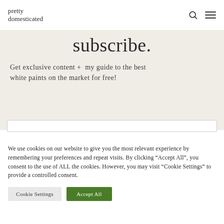pretty domesticated
subscribe.
Get exclusive content +  my guide to the best white paints on the market for free!
We use cookies on our website to give you the most relevant experience by remembering your preferences and repeat visits. By clicking "Accept All", you consent to the use of ALL the cookies. However, you may visit "Cookie Settings" to provide a controlled consent.